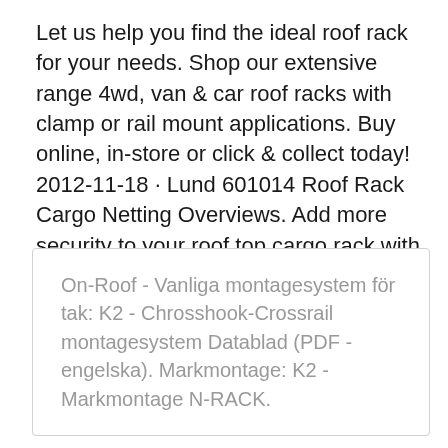Let us help you find the ideal roof rack for your needs. Shop our extensive range 4wd, van & car roof racks with clamp or rail mount applications. Buy online, in-store or click & collect today! 2012-11-18 · Lund 601014 Roof Rack Cargo Netting Overviews. Add more security to your roof top cargo rack with this black, nylon netting by Lund featuring reinforced hooks for added security and durability in all types of weather and road conditions.
On-Roof - Vanliga montagesystem för tak: K2 - Chrosshook-Crossrail montagesystem Datablad (PDF -engelska). Markmontage: K2 - Markmontage N-RACK.